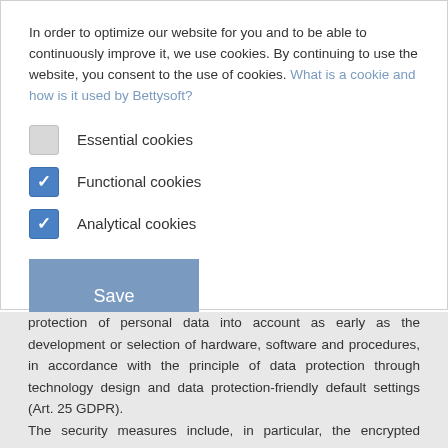In order to optimize our website for you and to be able to continuously improve it, we use cookies. By continuing to use the website, you consent to the use of cookies. What is a cookie and how is it used by Bettysoft?
Essential cookies
Functional cookies
Analytical cookies
Save
protection of personal data into account as early as the development or selection of hardware, software and procedures, in accordance with the principle of data protection through technology design and data protection-friendly default settings (Art. 25 GDPR). The security measures include, in particular, the encrypted transmission of data between your browser and our server. You can recognize an encrypted connection by the fact that